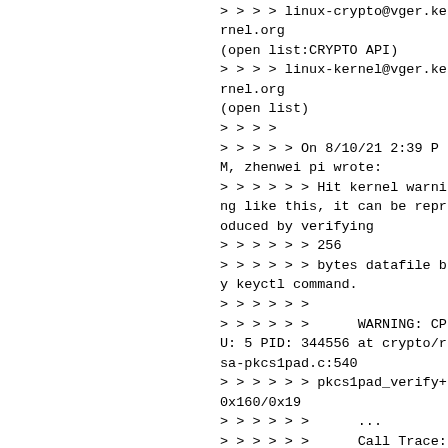(open list:ASYMMETRIC KEYS)
> > > > linux-crypto@vger.kernel.org
(open list:CRYPTO API)
> > > > linux-kernel@vger.kernel.org
(open list)
> > > >
> > > > > On 8/10/21 2:39 PM, zhenwei pi wrote:
> > > > > > Hit kernel warning like this, it can be reproduced by verifying
> > > > > > 256
> > > > > > bytes datafile by keyctl command.
> > > > > >
> > > > > >      WARNING: CPU: 5 PID: 344556 at crypto/rsa-pkcs1pad.c:540
> > > > > > pkcs1pad_verify+0x160/0x19
> > > > > >      ...
> > > > > >      Call Trace:
> > > > > >